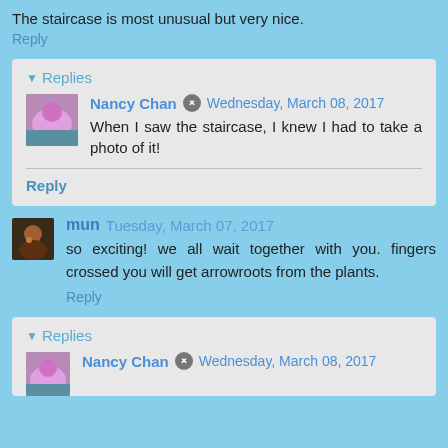The staircase is most unusual but very nice.
Reply
Replies
Nancy Chan  Wednesday, March 08, 2017
When I saw the staircase, I knew I had to take a photo of it!
Reply
mun  Tuesday, March 07, 2017
so exciting! we all wait together with you. fingers crossed you will get arrowroots from the plants.
Reply
Replies
Nancy Chan  Wednesday, March 08, 2017